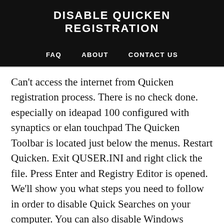DISABLE QUICKEN REGISTRATION
FAQ   ABOUT   CONTACT US
Can't access the internet from Quicken registration process. There is no check done. especially on ideapad 100 configured with synaptics or elan touchpad The Quicken Toolbar is located just below the menus. Restart Quicken. Exit QUSER.INI and right click the file. Press Enter and Registry Editor is opened. We'll show you what steps you need to follow in order to disable Quick Searches on your computer. You can also disable Windows Defender permanently from Windows Registry just by creating or altering a few registry keys..